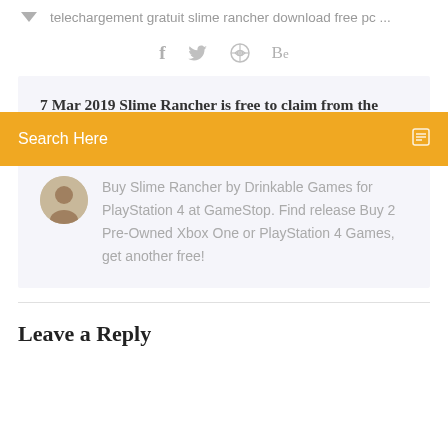telechargement gratuit slime rancher download free pc ...
[Figure (infographic): Social media icons row: Facebook (f), Twitter bird, Dribbble, Behance (Be) in gray]
7 Mar 2019 Slime Rancher is free to claim from the
Search Here
[Figure (photo): Circular avatar photo of a man]
Buy Slime Rancher by Drinkable Games for PlayStation 4 at GameStop. Find release Buy 2 Pre-Owned Xbox One or PlayStation 4 Games, get another free!
Leave a Reply